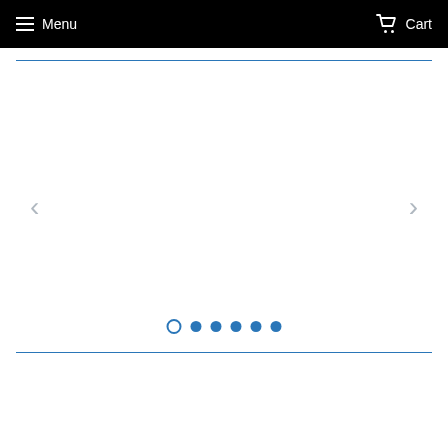Menu   Cart
[Figure (screenshot): Carousel image slider with left and right navigation arrows, a top blue border line, a bottom blue border line, and six pagination dots at the bottom (first dot is empty/outline, remaining five are filled blue).]